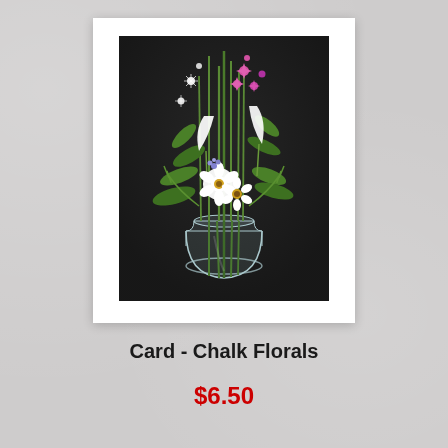[Figure (illustration): A chalk-art style illustration of a floral bouquet in a clear glass jar. The bouquet contains white calla lilies, pink star-shaped flowers, white anemones, green foliage, and small blue/purple flowers against a dark/black background.]
Card - Chalk Florals
$6.50